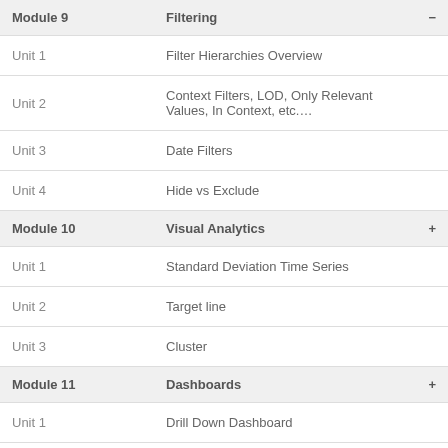| Module | Title |  |
| --- | --- | --- |
| Module 9 | Filtering | − |
| Unit 1 | Filter Hierarchies Overview |  |
| Unit 2 | Context Filters, LOD, Only Relevant Values, In Context, etc.… |  |
| Unit 3 | Date Filters |  |
| Unit 4 | Hide vs Exclude |  |
| Module 10 | Visual Analytics | + |
| Unit 1 | Standard Deviation Time Series |  |
| Unit 2 | Target line |  |
| Unit 3 | Cluster |  |
| Module 11 | Dashboards | + |
| Unit 1 | Drill Down Dashboard |  |
| Unit 2 | Highly Dynamic Dashboard with Parameters |  |